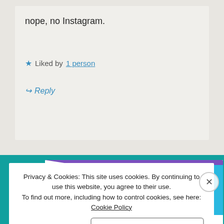nope, no Instagram.
★ Liked by 1 person
↪ Reply
[Figure (illustration): Ad card with purple, green, and blue decorative shapes on white background with bold text reading 'How to start selling subscriptions online']
Privacy & Cookies: This site uses cookies. By continuing to use this website, you agree to their use.
To find out more, including how to control cookies, see here: Cookie Policy
Close and accept